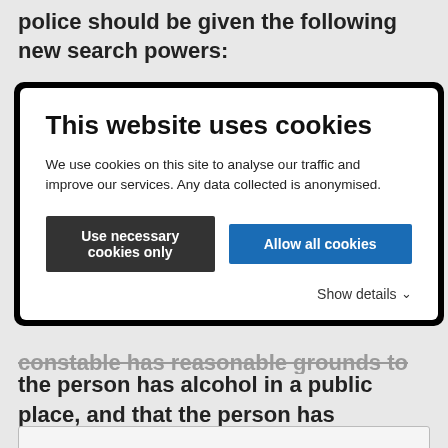police should be given the following new search powers:
[Figure (screenshot): Cookie consent banner overlay reading: 'This website uses cookies. We use cookies on this site to analyse our traffic and improve our services. Any data collected is anonymised.' with two buttons: 'Use necessary cookies only' (dark) and 'Allow all cookies' (blue), and a 'Show details' link with chevron.]
constable has reasonable grounds to suspect that the person has alcohol in a public place, and that the person has supplied or intends to supply the alcohol to a person under the age of 18 for consumption in a public place.